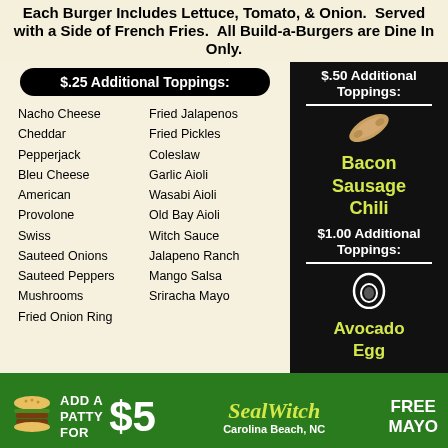Each Burger Includes Lettuce, Tomato, & Onion.  Served with a Side of French Fries.  All Build-a-Burgers are Dine In Only.
$.25 Additional Toppings:
Nacho Cheese
Cheddar
Pepperjack
Bleu Cheese
American
Provolone
Swiss
Sauteed Onions
Sauteed Peppers
Mushrooms
Fried Onion Ring
Fried Jalapenos
Fried Pickles
Coleslaw
Garlic Aioli
Wasabi Aioli
Old Bay Aioli
Witch Sauce
Jalapeno Ranch
Mango Salsa
Sriracha Mayo
$.50 Additional Toppings:
Bacon
Sausage
Chili
$1.00 Additional Toppings:
Avocado
Egg
ADD A PATTY FOR $5  SealWitch Carolina Beach, NC  FREE MAYO
CONSUMER ADVISORY: This item is served raw & undercooked or may contain raw & undercooked ingredients.  Consuming raw & undercooked meats, poultry, seafood, shellfish or eggs may increase your risk of foodborne illness